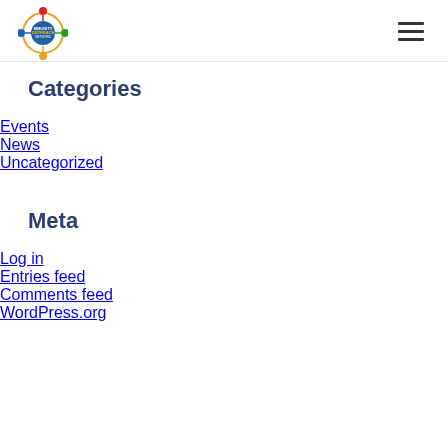Navigation header with logo and hamburger menu
Categories
Events
News
Uncategorized
Meta
Log in
Entries feed
Comments feed
WordPress.org